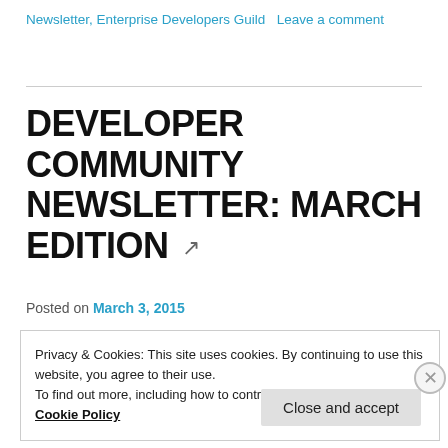Newsletter, Enterprise Developers Guild   Leave a comment
DEVELOPER COMMUNITY NEWSLETTER: MARCH EDITION
Posted on March 3, 2015
Privacy & Cookies: This site uses cookies. By continuing to use this website, you agree to their use.
To find out more, including how to control cookies, see here:
Cookie Policy
Close and accept